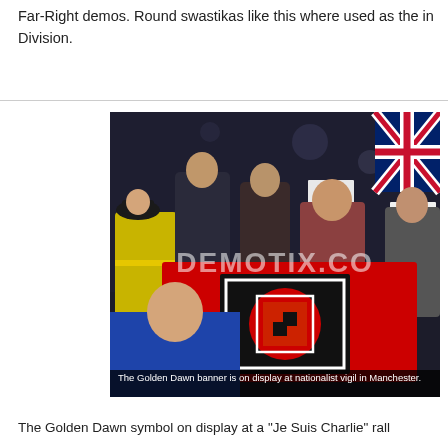Far-Right demos. Round swastikas like this where used as the in Division.
[Figure (photo): A crowd at a nationalist vigil in Manchester at night. People holding a large red flag/banner with a black square containing a golden dawn symbol (round swastika). A police officer in a yellow high-visibility jacket is visible on the left. People in the background hold signs including one reading 'Je Suis Charlie' and another reading 'solidarity'. A Union Jack flag is visible in the upper right. A person in a blue top is in the foreground with back to camera. A watermark reads 'DEMOTIX.CO'. A dark caption bar at bottom reads: 'The Golden Dawn banner is on display at nationalist vigil in Manchester.']
The Golden Dawn symbol on display at a "Je Suis Charlie" rall